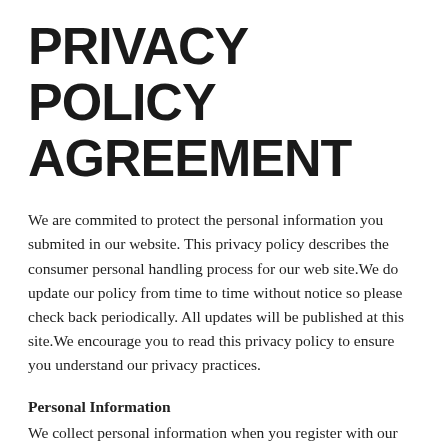PRIVACY POLICY AGREEMENT
We are commited to protect the personal information you submited in our website. This privacy policy describes the consumer personal handling process for our web site.We do update our policy from time to time without notice so please check back periodically. All updates will be published at this site.We encourage you to read this privacy policy to ensure you understand our privacy practices.
Personal Information
We collect personal information when you register with our site for free or paid downloads or for support and other services we offer. You